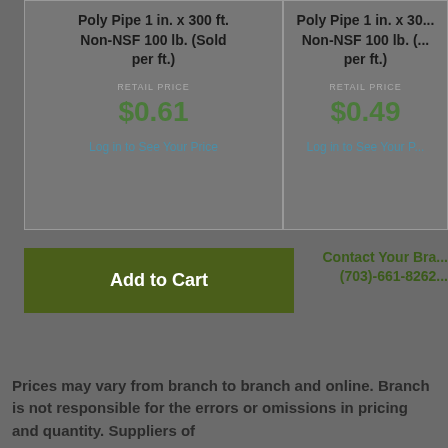Poly Pipe 1 in. x 300 ft. Non-NSF 100 lb. (Sold per ft.)
RETAIL PRICE
$0.61
Log in to See Your Price
Poly Pipe 1 in. x 300 ft. Non-NSF 100 lb. (Sold per ft.)
RETAIL PRICE
$0.49
Log in to See Your Price
Add to Cart
Contact Your Branch (703)-661-8262
Prices may vary from branch to branch and online. Branch is not responsible for the errors or omissions in pricing and quantity. Suppliers of